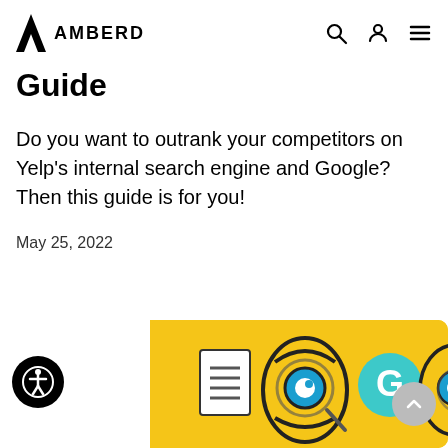AMBERD
Guide
Do you want to outrank your competitors on Yelp's internal search engine and Google? Then this guide is for you!
May 25, 2022
[Figure (illustration): Yellow background illustration showing eyes with magnifying glasses, a brain with Google G logo, and a speech bubble with text lines, representing SEO/search concepts]